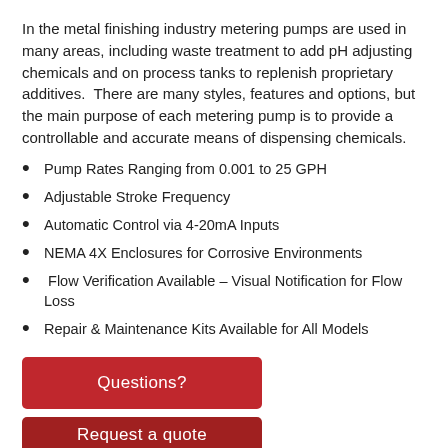In the metal finishing industry metering pumps are used in many areas, including waste treatment to add pH adjusting chemicals and on process tanks to replenish proprietary additives.  There are many styles, features and options, but the main purpose of each metering pump is to provide a controllable and accurate means of dispensing chemicals.
Pump Rates Ranging from 0.001 to 25 GPH
Adjustable Stroke Frequency
Automatic Control via 4-20mA Inputs
NEMA 4X Enclosures for Corrosive Environments
Flow Verification Available – Visual Notification for Flow Loss
Repair & Maintenance Kits Available for All Models
Questions?
Request a quote